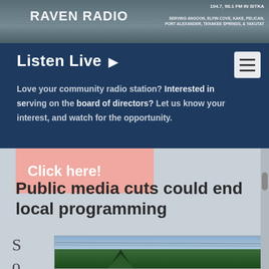[Figure (screenshot): Raven Radio website header banner with logo and frequency information: 104.7, 90.1 FM in Sitka]
RAVEN RADIO – 104.7, 90.1 FM IN SITKA – SERVING ANGOON, ELFIN COVE, KAKE, PELICAN, PORT ALEXANDER, TENAKEE SPRINGS, & YAKUTAT
Listen Live ▶
Love your community radio station? Interested in serving on the board of directors? Let us know your interest, and watch for the opportunity.
[Figure (screenshot): Pink banner button with text Click here!]
Public media cuts could end local programming
Posted by Ed Schoenfeld, CoastAlaska News | Apr 15, 2015
[Figure (photo): Partial photograph showing trees and power lines against a sky, bottom of page]